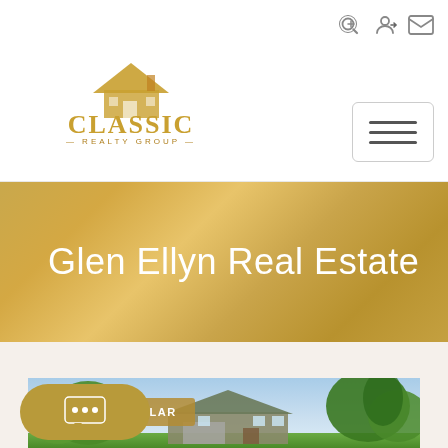[Figure (logo): Classic Realty Group logo with house roof icon and gold text]
Glen Ellyn Real Estate
[Figure (photo): Exterior photo of a residential home with blue sky and green trees, showing a ranch-style house]
MOST POPULAR